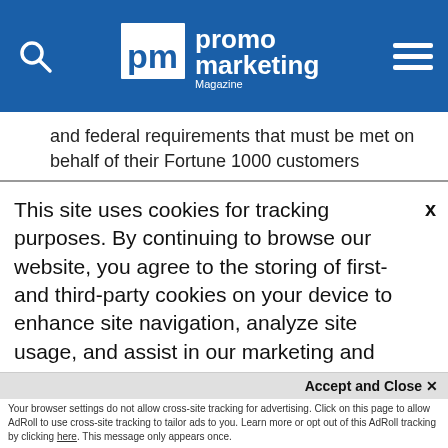promo marketing Magazine
and federal requirements that must be met on behalf of their Fortune 1000 customers
3. Understand compliance solutions are often best when they reflect a collaborative effort between distributors and suppliers
4. Recognize the commitment to product safety and compliance QCA Accredited suppliers are making and elevate these suppliers within
This site uses cookies for tracking purposes. By continuing to browse our website, you agree to the storing of first- and third-party cookies on your device to enhance site navigation, analyze site usage, and assist in our marketing and
Accept and Close ✕
Your browser settings do not allow cross-site tracking for advertising. Click on this page to allow AdRoll to use cross-site tracking to tailor ads to you. Learn more or opt out of this AdRoll tracking by clicking here. This message only appears once.